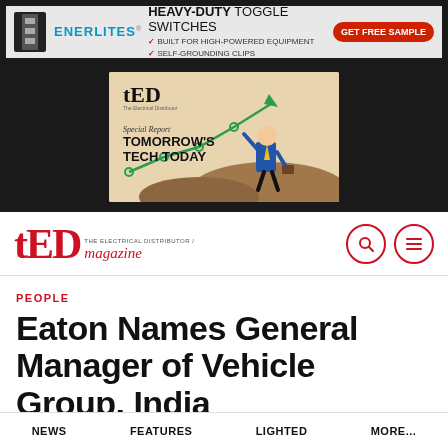[Figure (illustration): ENERLITES advertisement banner: dark background with ENERLITES logo, text 'HEAVY-DUTY Toggle Switches', '✓ Built for High-Powered Equipment', '✓ Self-Grounding Clips', and a red 'Get Free Sample' button]
[Figure (illustration): TED Magazine Special Report advertisement: beige background showing TED logo with line chart going up, illustration of businessman, text 'Special Report TOMORROW'S TECH TODAY']
[Figure (logo): TED Magazine logo: red stylized tED with 'The Electrical Distributor / magazine' text, with search and menu icons in red circles]
PEOPLE
Eaton Names General Manager of Vehicle Group, India
NEWS    FEATURES    LIGHTED    MORE...